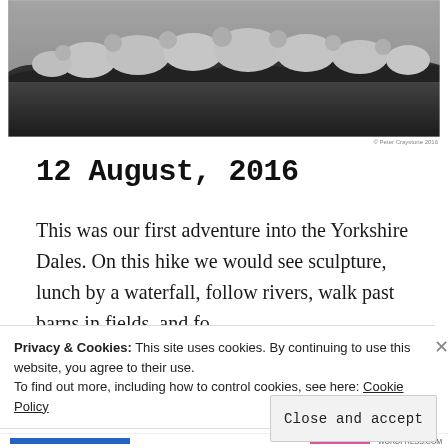[Figure (photo): Black and white photograph of a group of sheep standing in a field with tall grass, shot from a low angle showing the animals clustered together.]
© Peter Craystone 2016
12 August, 2016
This was our first adventure into the Yorkshire Dales. On this hike we would see sculpture, lunch by a waterfall, follow rivers, walk past barns in fields, and…
Privacy & Cookies: This site uses cookies. By continuing to use this website, you agree to their use.
To find out more, including how to control cookies, see here: Cookie Policy
Close and accept